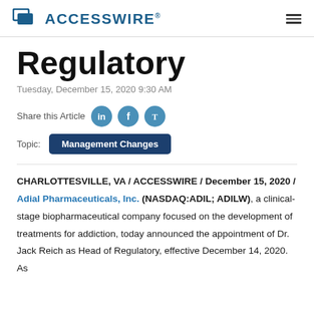ACCESSWIRE®
Regulatory
Tuesday, December 15, 2020 9:30 AM
Share this Article
Topic: Management Changes
CHARLOTTESVILLE, VA / ACCESSWIRE / December 15, 2020 / Adial Pharmaceuticals, Inc. (NASDAQ:ADIL; ADILW), a clinical-stage biopharmaceutical company focused on the development of treatments for addiction, today announced the appointment of Dr. Jack Reich as Head of Regulatory, effective December 14, 2020. As